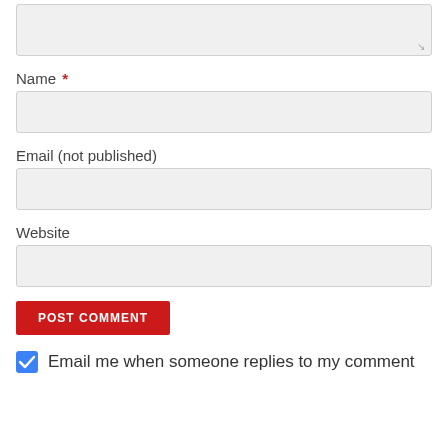[textarea — comment input field]
Name *
[Name input field]
Email (not published)
[Email input field]
Website
[Website input field]
POST COMMENT
Email me when someone replies to my comment